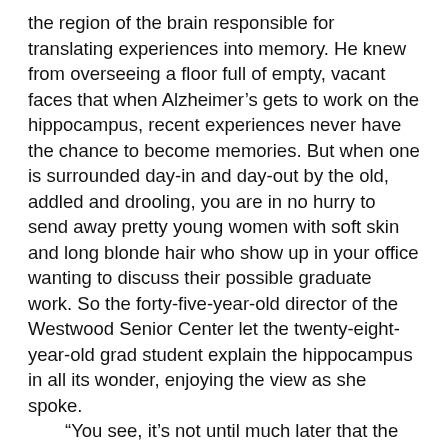the region of the brain responsible for translating experiences into memory. He knew from overseeing a floor full of empty, vacant faces that when Alzheimer's gets to work on the hippocampus, recent experiences never have the chance to become memories. But when one is surrounded day-in and day-out by the old, addled and drooling, you are in no hurry to send away pretty young women with soft skin and long blonde hair who show up in your office wanting to discuss their possible graduate work. So the forty-five-year-old director of the Westwood Senior Center let the twenty-eight-year-old grad student explain the hippocampus in all its wonder, enjoying the view as she spoke. “You see, it’s not until much later that the disease affects the regions in the brain where older memories are stored, so those memories are available even into the later stages of the disease.” It was the unearthing of these older, lingering memories, Lucy explained, that formed the basis of her proposed therapy. “To help both the patients and the caretakers learn new communication skills. That way, hopefully, their conversations can be a source of comfort, instead of both sides just ending up frustrated with each other.”